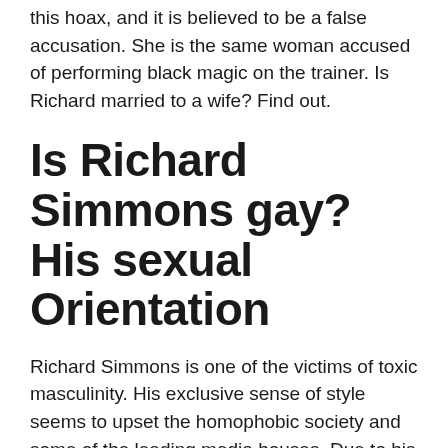this hoax, and it is believed to be a false accusation. She is the same woman accused of performing black magic on the trainer. Is Richard married to a wife? Find out.
Is Richard Simmons gay? His sexual Orientation
Richard Simmons is one of the victims of toxic masculinity. His exclusive sense of style seems to upset the homophobic society and some of the leading media houses. Due to his indifferent living and fashion choices, it's not safe to assume his sexuality as gay or a transgender person in this free world. When the trainer embraced gender neutral practice